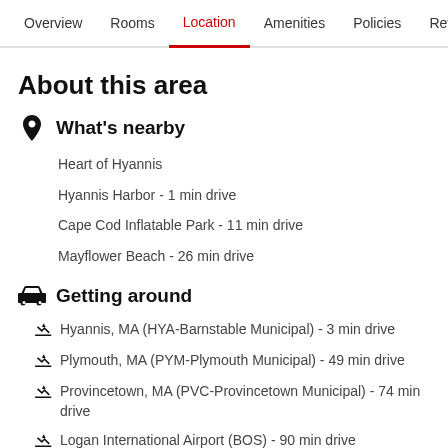Overview  Rooms  Location  Amenities  Policies  Reviews
About this area
What's nearby
Heart of Hyannis
Hyannis Harbor - 1 min drive
Cape Cod Inflatable Park - 11 min drive
Mayflower Beach - 26 min drive
Getting around
Hyannis, MA (HYA-Barnstable Municipal) - 3 min drive
Plymouth, MA (PYM-Plymouth Municipal) - 49 min drive
Provincetown, MA (PVC-Provincetown Municipal) - 74 min drive
Logan International Airport (BOS) - 90 min drive